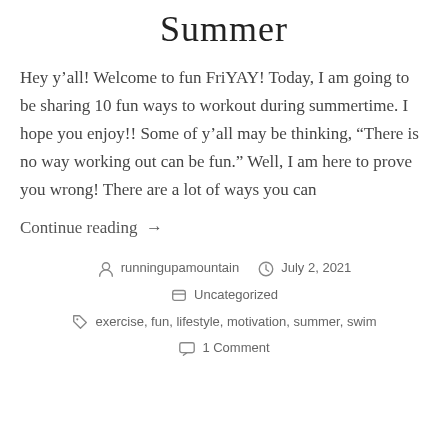Summer
Hey y’all! Welcome to fun FriYAY! Today, I am going to be sharing 10 fun ways to workout during summertime. I hope you enjoy!! Some of y’all may be thinking, “There is no way working out can be fun.” Well, I am here to prove you wrong! There are a lot of ways you can
Continue reading →
runningupamountain   July 2, 2021   Uncategorized   exercise, fun, lifestyle, motivation, summer, swim   1 Comment